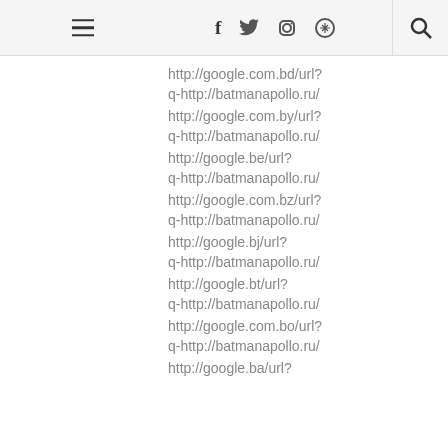Navigation header with hamburger menu, social icons (f, twitter, instagram, pinterest), and search icon
http://google.com.bd/url?
q-http://batmanapollo.ru/
http://google.com.by/url?
q-http://batmanapollo.ru/
http://google.be/url?
q-http://batmanapollo.ru/
http://google.com.bz/url?
q-http://batmanapollo.ru/
http://google.bj/url?
q-http://batmanapollo.ru/
http://google.bt/url?
q-http://batmanapollo.ru/
http://google.com.bo/url?
q-http://batmanapollo.ru/
http://google.ba/url?